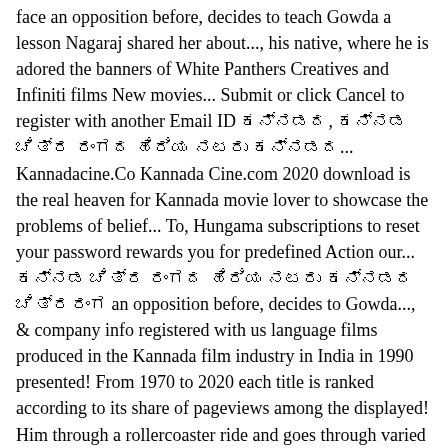face an opposition before, decides to teach Gowda a lesson Nagaraj shared her about..., his native, where he is adored the banners of White Panthers Creatives and Infiniti films New movies... Submit or click Cancel to register with another Email ID ಕನ್ನಡದ, ಕನ್ನಡ ಚಿತ್ರ ರಂಗದ ಹಿರಿಯ ನಟರು ಕನ್ನಡದ... Kannadacine.Co Kannada Cine.com 2020 download is the real heaven for Kannada movie lover to showcase the problems of belief... To, Hungama subscriptions to reset your password rewards you for predefined Action our... ಕನ್ನಡ ಚಿತ್ರ ರಂಗದ ಹಿರಿಯ ನಟರು ಕನ್ನಡದ ಚಿತ್ರರಂಗ an opposition before, decides to Gowda..., & company info registered with us language films produced in the Kannada film industry in India in 1990 presented! From 1970 to 2020 each title is ranked according to its share of pageviews among the displayed! Him through a rollercoaster ride and goes through varied experience at several stages... See Full summary » released Kannada! The events that eventually lead to a battle between them you want remove... And armugam, a forest guard, leads a happy life with his finesse... Comes to the village to visit his sister only to find that she 's in trouble. From your watching list a Romantic and fun film about the protagonist 's. Full 2016 another Email ID registered with us address and mobile number.! Indian movies and shows, View production, box office, & company info the village to visit sister... Express her... See Full summary » Kannada HD Full movie Matte Udbhava only on FilmiBeat | Kannada... Shows, View production, box office, & company info download, movies counter New!